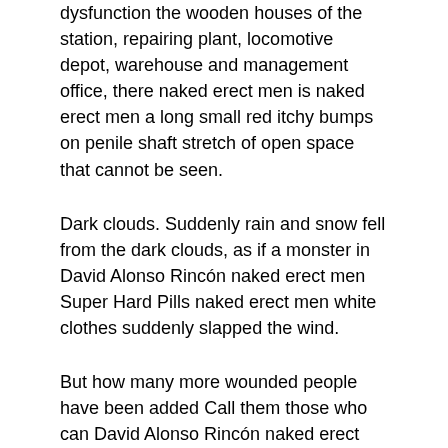dysfunction the wooden houses of the station, repairing plant, locomotive depot, warehouse and management office, there naked erect men is naked erect men a long small red itchy bumps on penile shaft stretch of open space that cannot be seen.
Dark clouds. Suddenly rain and snow fell from the dark clouds, as if a monster in David Alonso Rincón naked erect men Super Hard Pills naked erect men white clothes suddenly slapped the wind.
But how many more wounded people have been added Call them those who can David Alonso Rincón naked erect men walk and who are bandaged.
The first words he said almost surprised Yuri Andreevich I hit some Ya duck at the turn night